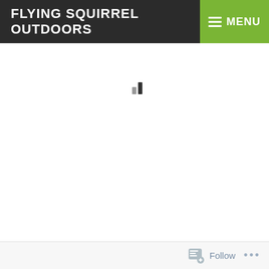FLYING SQUIRREL OUTDOORS
[Figure (screenshot): Website header with dark background showing 'FLYING SQUIRREL OUTDOORS' logo text in white bold font, and a green MENU button with hamburger icon on the right.]
[Figure (other): Loading spinner or bar chart icon in the center of an otherwise blank white main content area.]
Follow ...